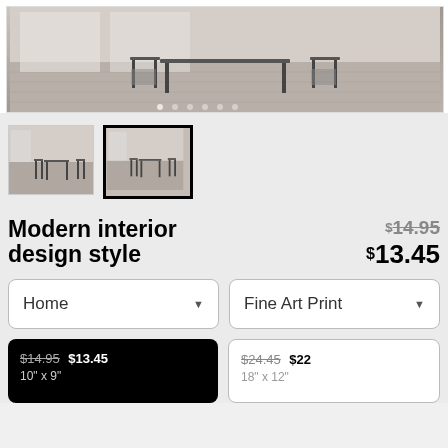[Figure (photo): Main product photo showing modern interior dining room scene with chairs and table on wood floor, displayed in a white frame. Below are two thumbnail images of the same scene.]
Modern interior design style
$14.95 (strikethrough) $13.45
Home dropdown, Fine Art Print dropdown
$14.95 $13.45 / 10" x 9" (selected, black card)
$24.45 $22 / 18" x 12" (white card)